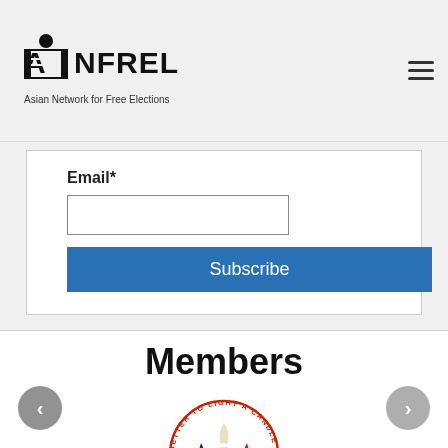ANFREL - Asian Network for Free Elections
Email*
Subscribe
Members
[Figure (logo): Circular logo with candle and text: BETTER TO LIGHT A CANDLE THAN TO CURSE THE DARKNESS, featuring red and blue flame shapes on white background]